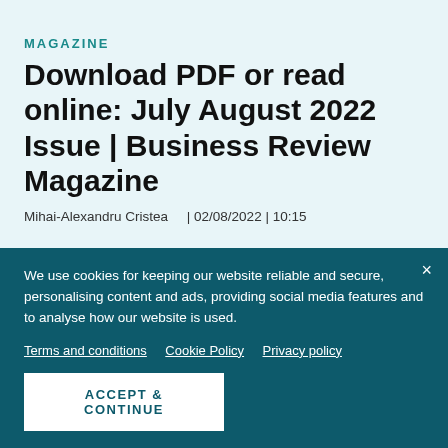MAGAZINE
Download PDF or read online: July August 2022 Issue | Business Review Magazine
Mihai-Alexandru Cristea    | 02/08/2022 | 10:15
We use cookies for keeping our website reliable and secure, personalising content and ads, providing social media features and to analyse how our website is used.
Terms and conditions   Cookie Policy   Privacy policy
ACCEPT & CONTINUE